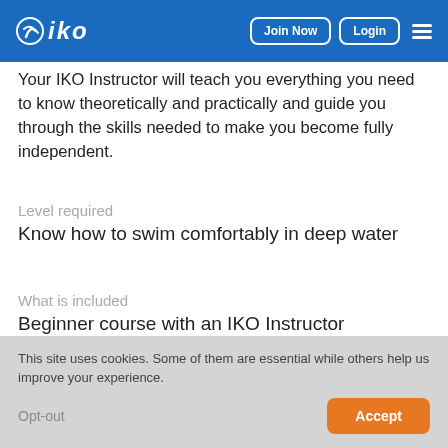IKO — Join Now | Login
Your IKO Instructor will teach you everything you need to know theoretically and practically and guide you through the skills needed to make you become fully independent.
Level required
Know how to swim comfortably in deep water
What is included
Beginner course with an IKO Instructor
IKO certification Discovery, Intermediate or Independent
This site uses cookies. Some of them are essential while others help us improve your experience.
Opt-out
Accept